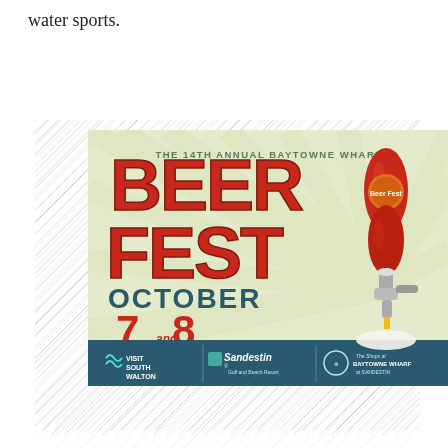water sports.
[Figure (illustration): The 14th Annual Baytowne Wharf Beer Fest advertisement. Light green/cream background with radiating sunburst lines. Large red bold text reads BEER FEST with smaller text above reading THE 14TH ANNUAL BAYTOWNE WHARF. Below reads OCTOBER 7 AND 8 EXCITING NEW BEERS! A red beer tap handle is shown on the right side. Bottom banner in teal/dark blue shows logos: Visit South Walton, Sandestin Golf and Beach Resort, and Baytowne Wharf at Sandestin.]